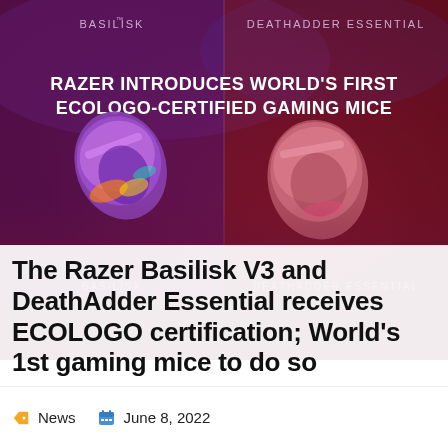[Figure (photo): Promotional image for Razer gaming mice. Dark purple/magenta background with two gaming mice shown: Razer Basilisk V3 on the left and DeathAdder Essential on the right. Large white bold text overlay reads 'RAZER INTRODUCES WORLD'S FIRST ECOLOGO-CERTIFIED GAMING MICE'. Product name labels 'BASILISK' and 'DEATHADDER ESSENTIAL' appear at top and bottom of the image.]
The Razer Basilisk V3 and DeathAdder Essential receives ECOLOGO certification; World's 1st gaming mice to do so
News   June 8, 2022